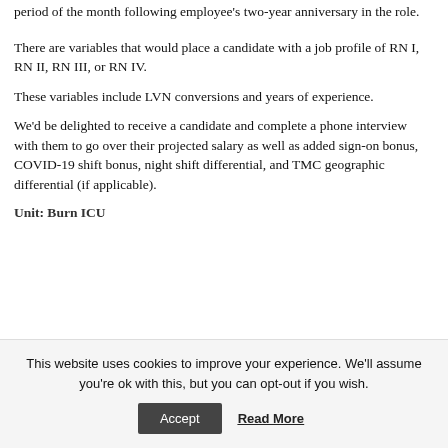period of the month following employee's two-year anniversary in the role.
There are variables that would place a candidate with a job profile of RN I, RN II, RN III, or RN IV.
These variables include LVN conversions and years of experience.
We'd be delighted to receive a candidate and complete a phone interview with them to go over their projected salary as well as added sign-on bonus, COVID-19 shift bonus, night shift differential, and TMC geographic differential (if applicable).
Unit: Burn ICU
This website uses cookies to improve your experience. We'll assume you're ok with this, but you can opt-out if you wish.